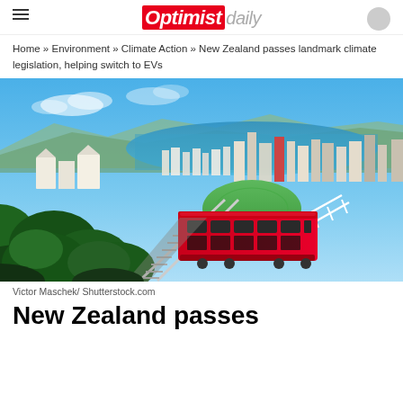Optimist daily
Home » Environment » Climate Action » New Zealand passes landmark climate legislation, helping switch to EVs
[Figure (photo): Wellington, New Zealand cityscape with red cable car in foreground, green hills, city buildings and harbour visible in the background under a blue sky.]
Victor Maschek/ Shutterstock.com
New Zealand passes